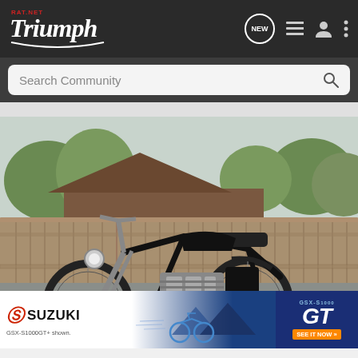RAT.NET TRIUMPH — Navigation bar with NEW, list, user, and menu icons
Search Community
[Figure (photo): Classic Triumph motorcycle (black custom bobber/cafe racer style) parked on asphalt driveway in front of a wooden privacy fence, with trees and a house roof visible behind. Side profile view, stripped-down frame, chrome engine, no fenders on front, small rear fender.]
[Figure (advertisement): Suzuki GSX-S1000GT advertisement banner. Left white section shows Suzuki logo (red S symbol + SUZUKI text) and 'GSX-S1000GT+ shown.' text. Center shows a blue sport motorcycle in motion with mountain backdrop. Right dark blue section shows 'GSX-S 1000 GT' text and orange 'SEE IT NOW >>' button.]